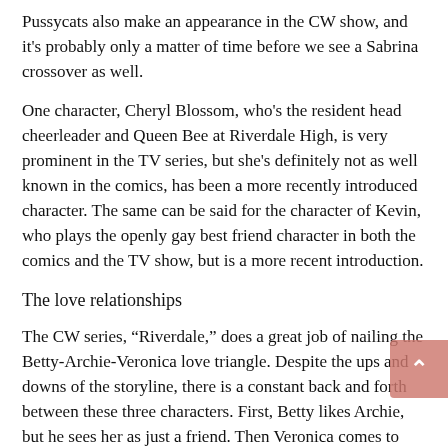Pussycats also make an appearance in the CW show, and it's probably only a matter of time before we see a Sabrina crossover as well.
One character, Cheryl Blossom, who's the resident head cheerleader and Queen Bee at Riverdale High, is very prominent in the TV series, but she's definitely not as well known in the comics, has been a more recently introduced character. The same can be said for the character of Kevin, who plays the openly gay best friend character in both the comics and the TV show, but is a more recent introduction.
The love relationships
The CW series, “Riverdale,” does a great job of nailing the Betty-Archie-Veronica love triangle. Despite the ups and downs of the storyline, there is a constant back and forth between these three characters. First, Betty likes Archie, but he sees her as just a friend. Then Veronica comes to town and things heat up between Veronica and Archie, and on and on it goes. The dating rollercoaster continues, and we never know which way it will turn next.